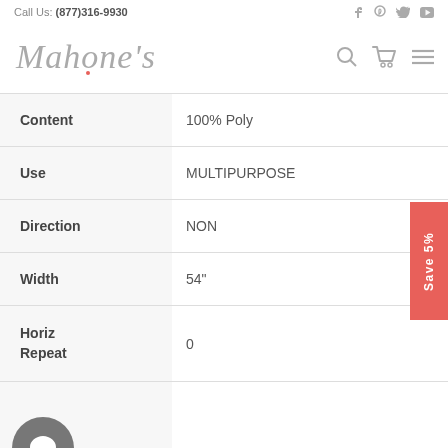Call Us: (877)316-9930
[Figure (logo): Mahone's cursive logo with search, cart, and menu icons]
| Attribute | Value |
| --- | --- |
| Content | 100% Poly |
| Use | MULTIPURPOSE |
| Direction | NON |
| Width | 54" |
| Horiz Repeat | 0 |
| Repeat | 0 |